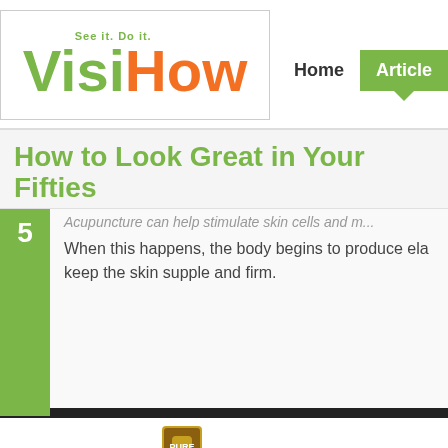[Figure (logo): VisiHow logo with tagline 'See it. Do it.' in green and orange colors]
Home | Articles
How to Look Great in Your Fifties
Acupuncture can help stimulate skin cells and m...
When this happens, the body begins to produce ela... keep the skin supple and firm.
[Figure (screenshot): Video thumbnail showing Fortnite Investigate the Anomaly scene with play button and blue label 'INVESTIGATE THE ANOMALY']
How to investigate the Anomaly at Lazy Lake in Fortnite Chapter 2 Season 6